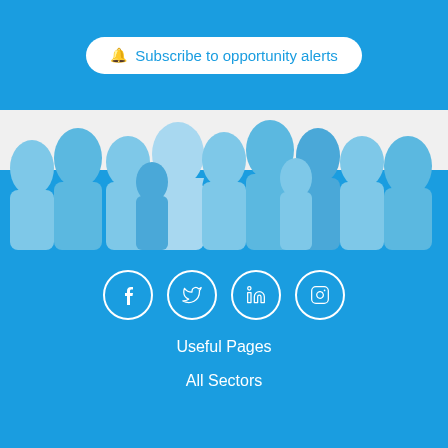[Figure (infographic): Subscribe to opportunity alerts button on blue banner]
[Figure (illustration): Crowd of people silhouettes in blue tones against light grey background]
[Figure (infographic): Social media icons (Facebook, Twitter, LinkedIn, Instagram) in white circles on blue background]
Useful Pages
All Sectors